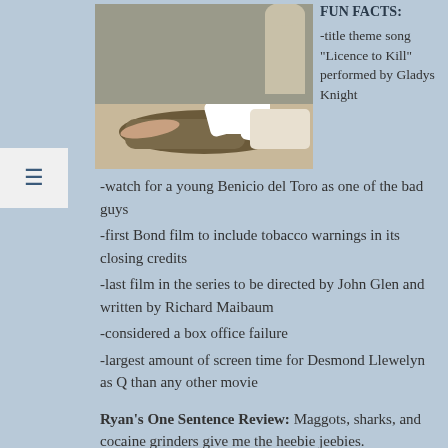[Figure (photo): A man in a white shirt leaning over a person lying on a bed, appearing to help or examine them, in a scene from the film Licence to Kill.]
FUN FACTS:
-title theme song "Licence to Kill" performed by Gladys Knight
-watch for a young Benicio del Toro as one of the bad guys
-first Bond film to include tobacco warnings in its closing credits
-last film in the series to be directed by John Glen and written by Richard Maibaum
-considered a box office failure
-largest amount of screen time for Desmond Llewelyn as Q than any other movie
Ryan's One Sentence Review: Maggots, sharks, and cocaine grinders give me the heebie jeebies.
Paul's quick review: Licence to Kill is one of the grittier